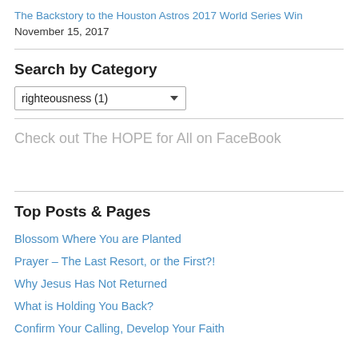The Backstory to the Houston Astros 2017 World Series Win November 15, 2017
Search by Category
righteousness  (1)
Check out The HOPE for All on FaceBook
Top Posts & Pages
Blossom Where You are Planted
Prayer – The Last Resort, or the First?!
Why Jesus Has Not Returned
What is Holding You Back?
Confirm Your Calling, Develop Your Faith